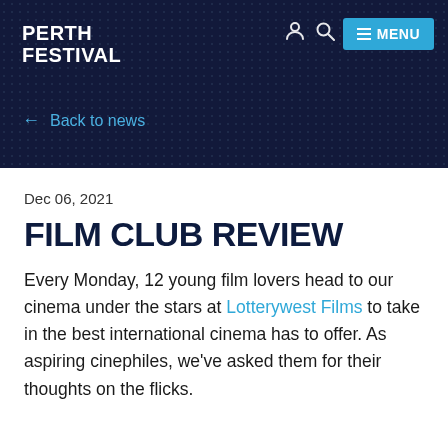PERTH FESTIVAL
← Back to news
Dec 06, 2021
FILM CLUB REVIEW
Every Monday, 12 young film lovers head to our cinema under the stars at Lotterywest Films to take in the best international cinema has to offer. As aspiring cinephiles, we've asked them for their thoughts on the flicks.